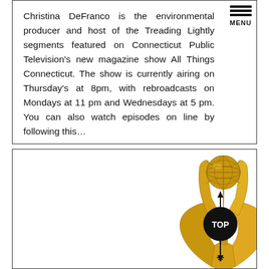Christina DeFranco is the environmental producer and host of the Treading Lightly segments featured on Connecticut Public Television's new magazine show All Things Connecticut. The show is currently airing on Thursday's at 8pm, with rebroadcasts on Mondays at 11 pm and Wednesdays at 5 pm. You can also watch episodes on line by following this...
[Figure (photo): Gold Emmy Award statuette trophy on white background]